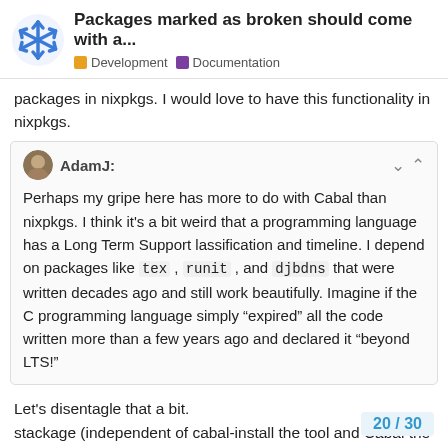Packages marked as broken should come with a... | Development | Documentation
packages in nixpkgs. I would love to have this functionality in nixpkgs.
AdamJ:
Perhaps my gripe here has more to do with Cabal than nixpkgs. I think it's a bit weird that a programming language has a Long Term Support lassification and timeline. I depend on packages like tex, runit, and djbdns that were written decades ago and still work beautifully. Imagine if the C programming language simply “expired” all the code written more than a few years ago and declared it “beyond LTS!”
Let's disentagle that a bit.
stackage (independent of cabal-install the tool and Cabal the library) provides an LTS set of none to build together packages. Just because packages are not in there th
It's just that no one took on the task to incl
20 / 30